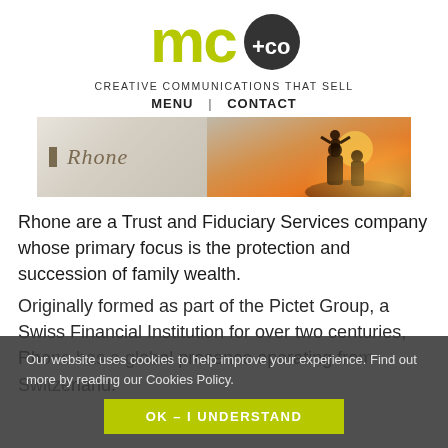[Figure (logo): mc+co logo: green 'mc' text with dark circle containing '+co' text]
CREATIVE COMMUNICATIONS THAT SELL
MENU | CONTACT
[Figure (photo): Banner image: left side shows Rhone logo on light background; right side shows silhouette of family at sunset]
Rhone are a Trust and Fiduciary Services company whose primary focus is the protection and succession of family wealth.
Originally formed as part of the Pictet Group, a Swiss Financial Institution for over two centuries, Rhone has a global presence operating from Switzerland.
Our website uses cookies to help improve your experience. Find out more by reading our Cookies Policy.
OK – I UNDERSTAND